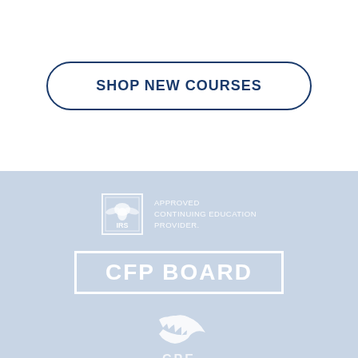SHOP NEW COURSES
[Figure (logo): IRS Approved Continuing Education Provider logo with eagle emblem]
[Figure (logo): CFP BOARD logo in white text with white border rectangle]
[Figure (logo): CPE logo with white stylized hand/wing graphic above CPE text]